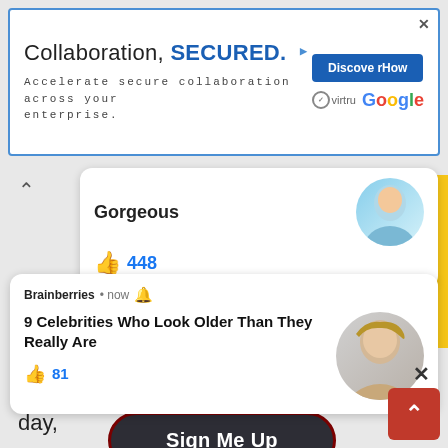[Figure (screenshot): Advertisement banner for Virtru/Google: 'Collaboration, SECURED. Accelerate secure collaboration across your enterprise.' with a Discover How button, Virtru and Google logos, and an AdChoices icon.]
Gorgeous
448
Open Heaven
Email Free!!
Brainberries • now
9 Celebrities Who Look Older Than They Really Are
81
Email Address
Sign Me Up
Does manifest in thee.
4. O Sunday School, on the Lord's day,